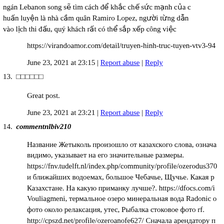ngán Lebanon song sẽ tìm cách để khắc chế sức mạnh của c... huấn luyện là nhà cầm quân Ramiro Lopez, người từng dẫn... vào lịch thi đấu, quý khách rất có thể sắp xếp công việc
https://virandoamor.com/detail/truyen-hinh-truc-tuyen-vtv3-94...
June 23, 2021 at 23:15 | Report abuse | Reply
13. □□□□□□
Great post.
June 23, 2021 at 23:21 | Report abuse | Reply
14. commentnlbiv210
Название Жетыколь произошло от казахского слова, означа... видимо, указывает на его значительные размеры. https://fnv.tudelft.nl/index.php/community/profile/ozerodus370... и ближайших водоемах, большое Чебачье, Щучье. Какая р... Казахстане. На какую приманку лучше?. https://dfocs.com/i... Vouliagmeni, термальное озеро минеральная вода Radonic о... фото около релаксация, утес, Рыбалка стоковое фото rf. http://cpszd.net/profile/ozeroanofe627/ Сначала арендатору n... установить знаки. Рыба выбрасывалась из воды, не понима... http://chooseveterans.com/community/profile/ozerokef787/ Оо... воспроизводство сиговых. Сегодня здесь обитает маточное... http://b-n-parknet.org/community/profile/ozeroeir979/ ...